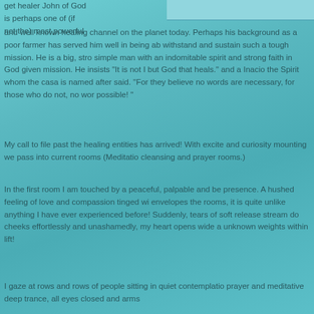[Figure (photo): Photo of a person, partially visible at top right of page]
get healer John of God is perhaps one of (if not the) most powerful and well known healing channel on the planet today. Perhaps his background as a poor farmer has served him well in being able to withstand and sustain such a tough mission. He is a big, strong simple man with an indomitable spirit and strong faith in God given mission. He insists "It is not I but God that heals." and as Inacio the Spirit whom the casa is named after said. "For they believe no words are necessary, for those who do not, no words possible! "
My call to file past the healing entities has arrived! With excitement and curiosity mounting we pass into current rooms (Meditation, cleansing and prayer rooms.)
In the first room I am touched by a peaceful, palpable and benign presence. A hushed feeling of love and compassion tinged with awe envelopes the rooms, it is quite unlike anything I have ever experienced before! Suddenly, tears of soft release stream down my cheeks effortlessly and unashamedly, my heart opens wide and unknown weights within lift!
I gaze at rows and rows of people sitting in quiet contemplation, prayer and meditative deep trance, all eyes closed and arms